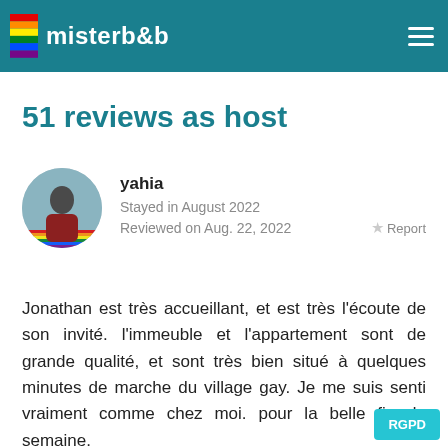misterb&b
51 reviews as host
yahia
Stayed in August 2022
Reviewed on Aug. 22, 2022
Report
Jonathan est très accueillant, et est très l'écoute de son invité. l'immeuble et l'appartement sont de grande qualité, et sont très bien situé à quelques minutes de marche du village gay. Je me suis senti vraiment comme chez moi. pour la belle fin de semaine.
RGPD